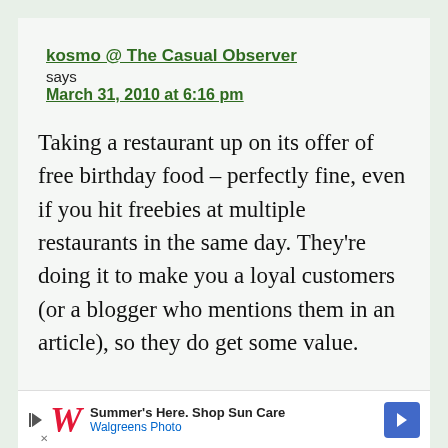kosmo @ The Casual Observer says March 31, 2010 at 6:16 pm
Taking a restaurant up on its offer of free birthday food – perfectly fine, even if you hit freebies at multiple restaurants in the same day. They're doing it to make you a loyal customers (or a blogger who mentions them in an article), so they do get some value.
Summer's Here. Shop Sun Care Walgreens Photo